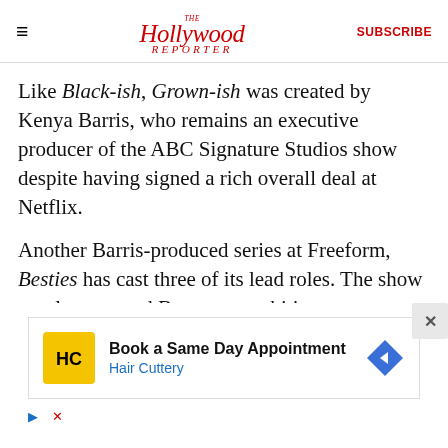The Hollywood Reporter | SUBSCRIBE
Like Black-ish, Grown-ish was created by Kenya Barris, who remains an executive producer of the ABC Signature Studios show despite having signed a rich overall deal at Netflix.
Another Barris-produced series at Freeform, Besties has cast three of its lead roles. The show revolves around Becca, an ambitious overachiever from an African-American family who discovers her birth mother is white, which leads to her meeting her previously unknown half-sister, Jesi, and the tw
[Figure (infographic): Advertisement for Hair Cuttery: Book a Same Day Appointment, with Hair Cuttery logo and navigation arrow icon]